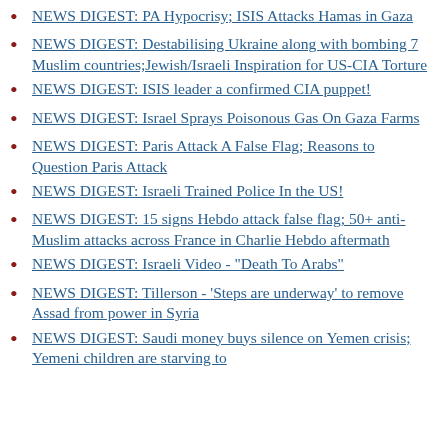NEWS DIGEST: PA Hypocrisy; ISIS Attacks Hamas in Gaza
NEWS DIGEST: Destabilising Ukraine along with bombing 7 Muslim countries;Jewish/Israeli Inspiration for US-CIA Torture
NEWS DIGEST: ISIS leader a confirmed CIA puppet!
NEWS DIGEST: Israel Sprays Poisonous Gas On Gaza Farms
NEWS DIGEST: Paris Attack A False Flag; Reasons to Question Paris Attack
NEWS DIGEST: Israeli Trained Police In the US!
NEWS DIGEST: 15 signs Hebdo attack false flag; 50+ anti-Muslim attacks across France in Charlie Hebdo aftermath
NEWS DIGEST: Israeli Video - "Death To Arabs"
NEWS DIGEST: Tillerson - 'Steps are underway' to remove Assad from power in Syria
NEWS DIGEST: Saudi money buys silence on Yemen crisis; Yemeni children are starving to